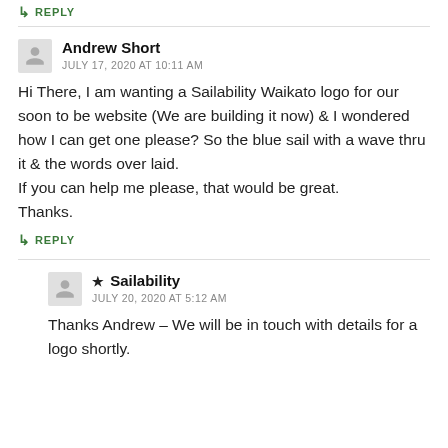↳ REPLY
Andrew Short
JULY 17, 2020 AT 10:11 AM
Hi There, I am wanting a Sailability Waikato logo for our soon to be website (We are building it now) & I wondered how I can get one please? So the blue sail with a wave thru it & the words over laid.
If you can help me please, that would be great.
Thanks.
↳ REPLY
★ Sailability
JULY 20, 2020 AT 5:12 AM
Thanks Andrew – We will be in touch with details for a logo shortly.